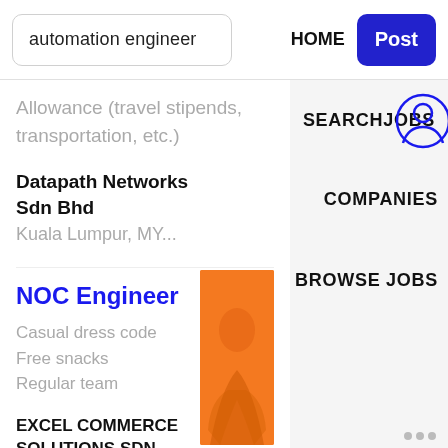automation engineer
HOME
Post
Allowance (travel stipends, transportation, etc.)
[Figure (illustration): User/person icon circle outline in blue, overlapping the SEARCHJOBS text]
SEARCHJOBS
Datapath Networks Sdn Bhd
Kuala Lumpur, MY...
COMPANIES
NOC Engineer
Casual dress code
Free snacks
Regular team
[Figure (photo): Orange background with a hand/person visible, partial image]
BROWSE JOBS
EXCEL COMMERCE SOLUTIONS SDN. BHD